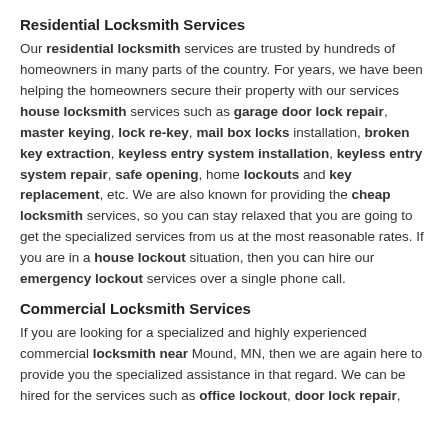Residential Locksmith Services
Our residential locksmith services are trusted by hundreds of homeowners in many parts of the country. For years, we have been helping the homeowners secure their property with our services house locksmith services such as garage door lock repair, master keying, lock re-key, mail box locks installation, broken key extraction, keyless entry system installation, keyless entry system repair, safe opening, home lockouts and key replacement, etc. We are also known for providing the cheap locksmith services, so you can stay relaxed that you are going to get the specialized services from us at the most reasonable rates. If you are in a house lockout situation, then you can hire our emergency lockout services over a single phone call.
Commercial Locksmith Services
If you are looking for a specialized and highly experienced commercial locksmith near Mound, MN, then we are again here to provide you the specialized assistance in that regard. We can be hired for the services such as office lockout, door lock repair,